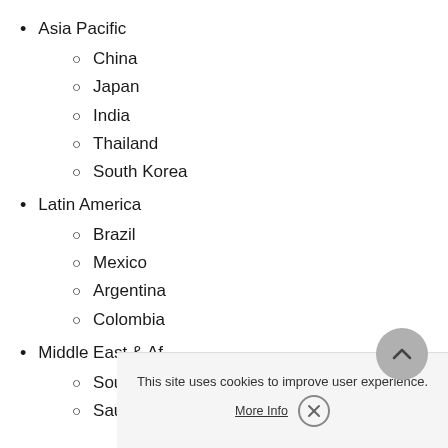Asia Pacific
China
Japan
India
Thailand
South Korea
Latin America
Brazil
Mexico
Argentina
Colombia
Middle East & Af…
South Africa
Saudi Arabi…
This site uses cookies to improve user experience.
More Info